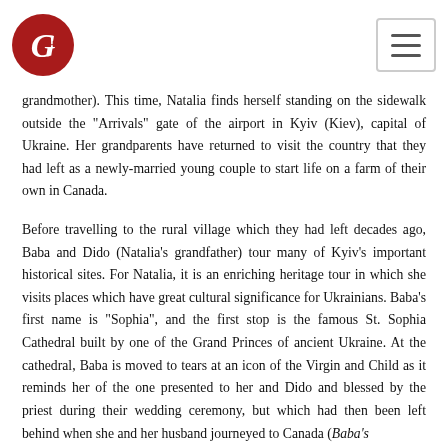G1 logo and navigation menu
grandmother). This time, Natalia finds herself standing on the sidewalk outside the “Arrivals” gate of the airport in Kyiv (Kiev), capital of Ukraine. Her grandparents have returned to visit the country that they had left as a newly-married young couple to start life on a farm of their own in Canada.
Before travelling to the rural village which they had left decades ago, Baba and Dido (Natalia’s grandfather) tour many of Kyiv’s important historical sites. For Natalia, it is an enriching heritage tour in which she visits places which have great cultural significance for Ukrainians. Baba’s first name is “Sophia”, and the first stop is the famous St. Sophia Cathedral built by one of the Grand Princes of ancient Ukraine. At the cathedral, Baba is moved to tears at an icon of the Virgin and Child as it reminds her of the one presented to her and Dido and blessed by the priest during their wedding ceremony, but which had then been left behind when she and her husband journeyed to Canada (Baba’s